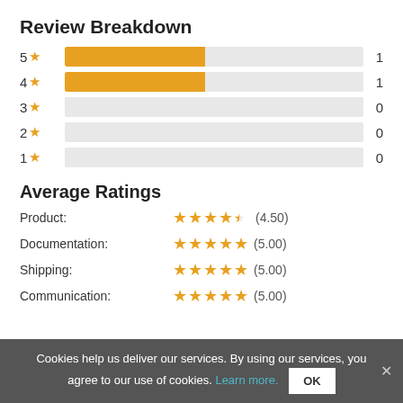Review Breakdown
[Figure (bar-chart): Review Breakdown]
Average Ratings
Product: ★★★★½ (4.50)
Documentation: ★★★★★ (5.00)
Shipping: ★★★★★ (5.00)
Communication: ★★★★★ (5.00)
Cookies help us deliver our services. By using our services, you agree to our use of cookies. Learn more. OK